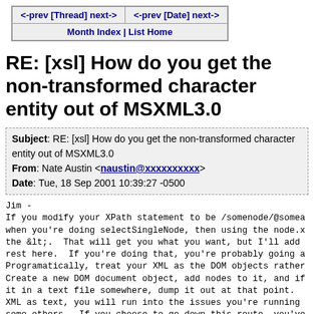| <-prev [Thread] next-> | <-prev [Date] next-> |
| Month Index | List Home |  |
RE: [xsl] How do you get the non-transformed character entity out of MSXML3.0
Subject: RE: [xsl] How do you get the non-transformed character entity out of MSXML3.0
From: Nate Austin <naustin@xxxxxxxxxx>
Date: Tue, 18 Sep 2001 10:39:27 -0500
Jim -
If you modify your XPath statement to be /somenode/@somea
when you're doing selectSingleNode, then using the node.x
the &lt;.  That will get you what you want, but I'll add
rest here.  If you're doing that, you're probably going a
Programatically, treat your XML as the DOM objects rather
Create a new DOM document object, add nodes to it, and if
it in a text file somewhere, dump it out at that point.
XML as text, you will run into the issues you're running
some others.  If you choose to go down this route, you've
(multiple times now).  At any rate, I hope that helps.